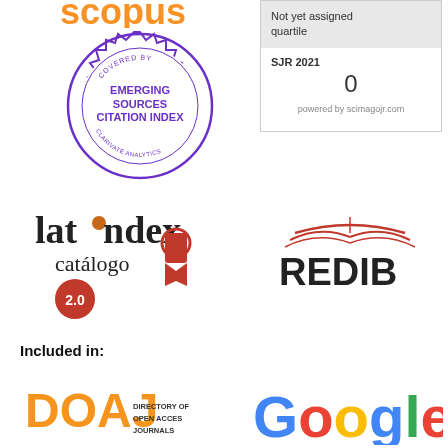[Figure (logo): Scopus logo (partially visible, top-cropped)]
[Figure (logo): Emerging Sources Citation Index badge covered by Clarivate Analytics]
[Figure (other): SJR 2021 box showing value 0, Not yet assigned quartile, powered by scimagojr.com]
[Figure (logo): Latindex catálogo 2.0 logo with award ribbon]
[Figure (logo): REDIB logo with open book icon]
Included in:
[Figure (logo): DOAJ - Directory of Open Access Journals logo]
[Figure (logo): Google (Scholar) logo, partially visible]